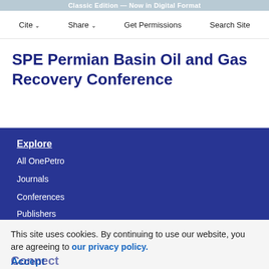Classic Edition — Now in Digital Format
Cite  Share  Get Permissions  Search Site
SPE Permian Basin Oil and Gas Recovery Conference
Explore
All OnePetro
Journals
Conferences
Publishers
This site uses cookies. By continuing to use our website, you are agreeing to our privacy policy. Accept
About Us